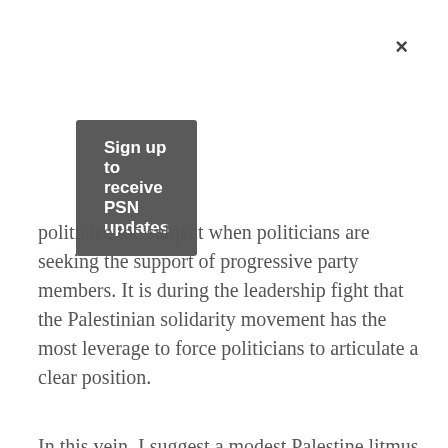[Figure (other): Close button (×) in upper right corner of modal overlay]
Sign up to receive PSN updates
politicize the subject when politicians are seeking the support of progressive party members. It is during the leadership fight that the Palestinian solidarity movement has the most leverage to force politicians to articulate a clear position.
In this vein, I suggest a modest Palestine litmus test: no NDP leadership candidate deserves support if they fail to call on the federal government to adhere to UN Resolution 2334. Passed by the Security Council, it has the force of international law (unlike General Assembly motions) and its narrow focus should make it fully palatable to mainstream opinion (it says nothing about the rights of Palestinians ethnically cleansed in 1948 or the inequities